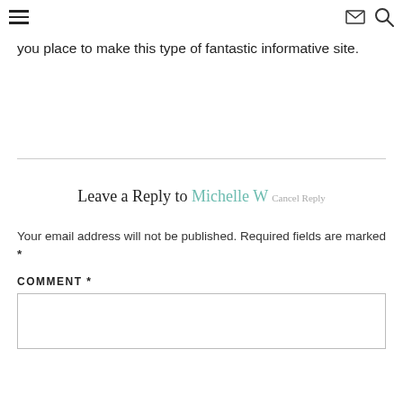[hamburger menu] [envelope icon] [search icon]
you place to make this type of fantastic informative site.
Leave a Reply to Michelle W Cancel Reply
Your email address will not be published. Required fields are marked *
COMMENT *
[comment input box]